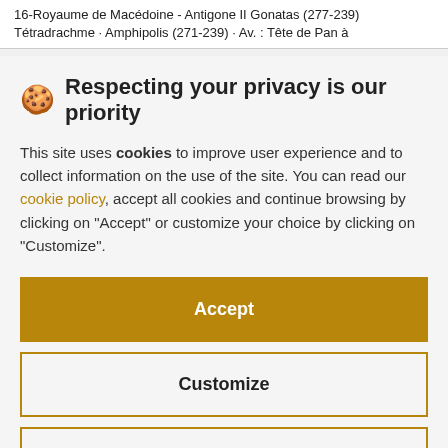16-Royaume de Macédoine - Antigone II Gonatas (277-239) Tétradrachme · Amphipolis (271-239) · Av. : Tête de Pan à
🍪 Respecting your privacy is our priority
This site uses cookies to improve user experience and to collect information on the use of the site. You can read our cookie policy, accept all cookies and continue browsing by clicking on "Accept" or customize your choice by clicking on "Customize".
Accept
Customize
Continue without accepting